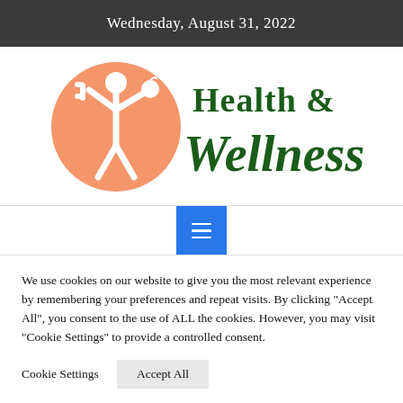Wednesday, August 31, 2022
[Figure (logo): Health & Wellness logo with orange circle containing white stick figure person holding a dumbbell and apple, with green serif/script text reading 'Health & Wellness']
[Figure (screenshot): Blue hamburger menu navigation button with three white horizontal lines]
We use cookies on our website to give you the most relevant experience by remembering your preferences and repeat visits. By clicking "Accept All", you consent to the use of ALL the cookies. However, you may visit "Cookie Settings" to provide a controlled consent.
Cookie Settings   Accept All